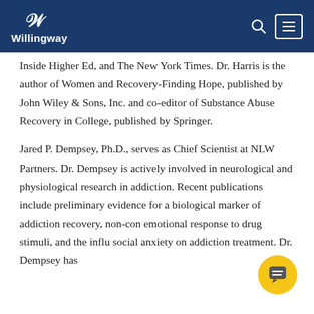Willingway
Inside Higher Ed, and The New York Times. Dr. Harris is the author of Women and Recovery-Finding Hope, published by John Wiley & Sons, Inc. and co-editor of Substance Abuse Recovery in College, published by Springer.
Jared P. Dempsey, Ph.D., serves as Chief Scientist at NLW Partners. Dr. Dempsey is actively involved in neurological and physiological research in addiction. Recent publications include preliminary evidence for a biological marker of addiction recovery, non-con[scious] emotional response to drug stimuli, and the influ[ence of] social anxiety on addiction treatment. Dr. Dempsey has